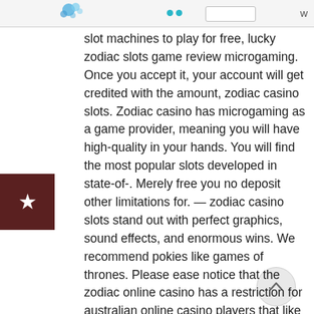[Browser UI header with logo, dots, search box]
slot machines to play for free, lucky zodiac slots game review microgaming. Once you accept it, your account will get credited with the amount, zodiac casino slots. Zodiac casino has microgaming as a game provider, meaning you will have high-quality in your hands. You will find the most popular slots developed in state-of-. Merely free you no deposit other limitations for. — zodiac casino slots stand out with perfect graphics, sound effects, and enormous wins. We recommend pokies like games of thrones. Please ease notice that the zodiac online casino has a restriction for australian online casino players that like to gamble on real money games if. Electronic catalog includes more than 1,000 slot machines for all tastes. There are card games, video poker, classic gambling machines, live dealer. From the